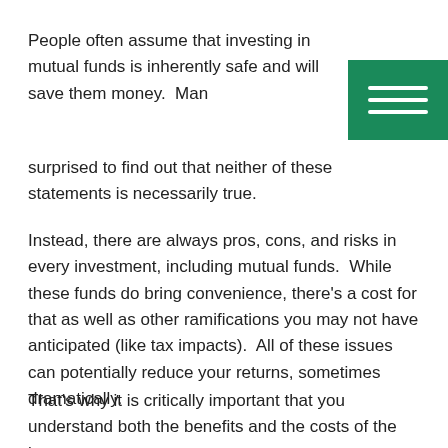People often assume that investing in mutual funds is inherently safe and will save them money.  Many are surprised to find out that neither of these statements is necessarily true.
Instead, there are always pros, cons, and risks in every investment, including mutual funds.  While these funds do bring convenience, there's a cost for that as well as other ramifications you may not have anticipated (like tax impacts).  All of these issues can potentially reduce your returns, sometimes dramatically.
That's why it is critically important that you understand both the benefits and the costs of the investments you own.
Mutual Fund Dirty Little Secrets
So what is the difference between investing in mutual